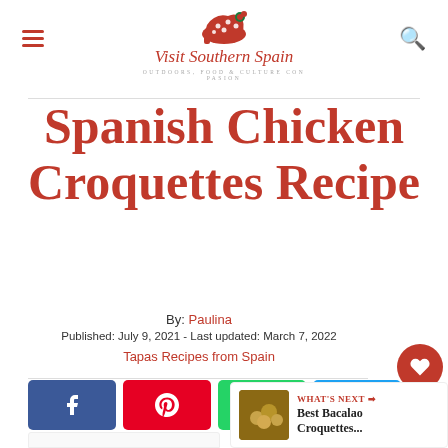[Figure (logo): Visit Southern Spain logo with red polka-dot shoe above script text 'Visit Southern Spain' and tagline 'OUTDOORS, FOOD & CULTURE CON PASION']
Spanish Chicken Croquettes Recipe
By: Paulina
Published: July 9, 2021 - Last updated: March 7, 2022
Tapas Recipes from Spain
[Figure (infographic): Social sharing buttons: Facebook (blue), Pinterest (red), WhatsApp (green), Twitter (cyan), Email (green)]
[Figure (infographic): Floating right sidebar with heart/save button (red circle), count 162, and share button]
[Figure (infographic): WHAT'S NEXT panel showing Best Bacalao Croquettes thumbnail and title]